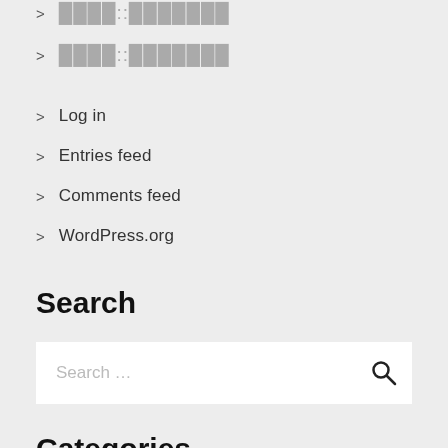████::███████
████::███████
Log in
Entries feed
Comments feed
WordPress.org
Search
Search …
Categories